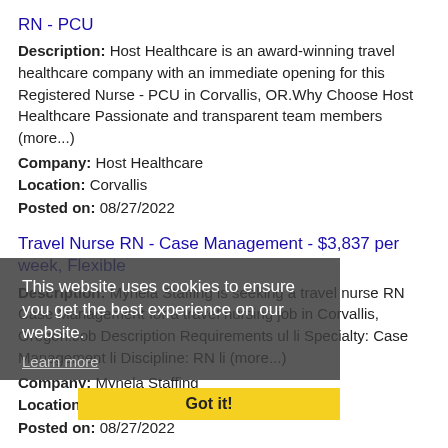RN - PCU
Description: Host Healthcare is an award-winning travel healthcare company with an immediate opening for this Registered Nurse - PCU in Corvallis, OR.Why Choose Host Healthcare Passionate and transparent team members (more...)
Company: Host Healthcare
Location: Corvallis
Posted on: 08/27/2022
Travel Nurse RN - Case Management - $3,837 per week, Flexible
Description: Mynela Staffing is seeking a travel nurse RN Case Management for a travel nursing job in Corvallis, Oregon.Job Description Requirements ul li Specialty: Case Management li Discipline: RN li (more...)
Company: Mynela Staffing
Location: Corvallis
Posted on: 08/27/2022
Travel Nurse RN - Manager - $4,032 per week, Flexible
Description: Ink - A Healthcare Staffing Co. is seeking a travel nurse RN Manager for a travel nursing job in Corvallis, Oregon.Job Description Requirements ul li Specialty: Manager